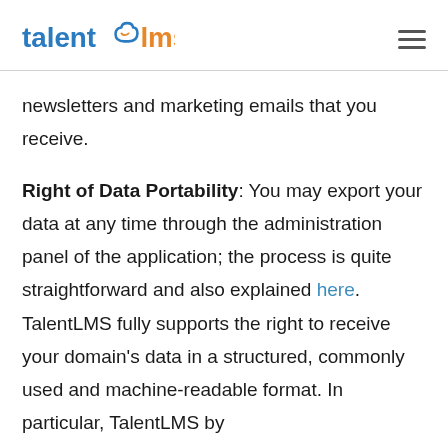TalentLMS logo and navigation
newsletters and marketing emails that you receive.
Right of Data Portability: You may export your data at any time through the administration panel of the application; the process is quite straightforward and also explained here. TalentLMS fully supports the right to receive your domain's data in a structured, commonly used and machine-readable format. In particular, TalentLMS by